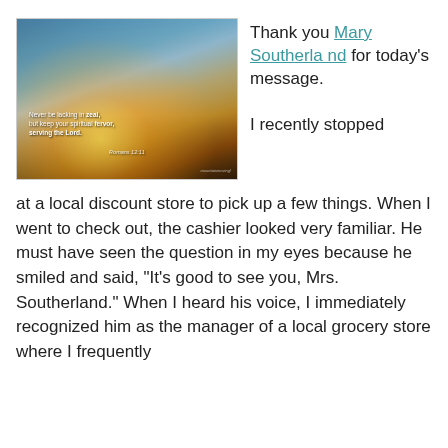[Figure (photo): A dramatic sunset/sunrise sky with golden light rays bursting upward, silhouetted buildings and landscape at the bottom. Overlaid text reads: 'Never be lacking in zeal, but keep your spiritual fervor, serving the Lord. Romans 12:11']
Thank you Mary Southerland for today's message.

I recently stopped at a local discount store to pick up a few things. When I went to check out, the cashier looked very familiar. He must have seen the question in my eyes because he smiled and said, "It's good to see you, Mrs. Southerland." When I heard his voice, I immediately recognized him as the manager of a local grocery store where I frequently